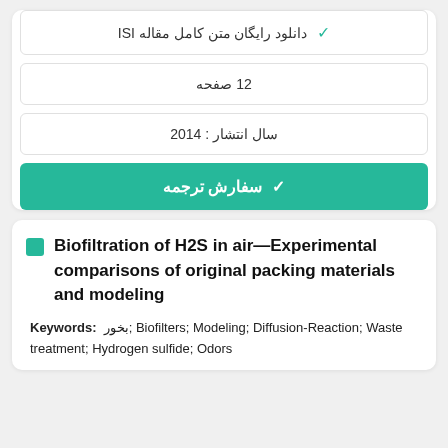✓ دانلود رایگان متن کامل مقاله ISI
12 صفحه
سال انتشار : 2014
✓ سفارش ترجمه
Biofiltration of H2S in air—Experimental comparisons of original packing materials and modeling
Keywords: بخور; Biofilters; Modeling; Diffusion-Reaction; Waste treatment; Hydrogen sulfide; Odors